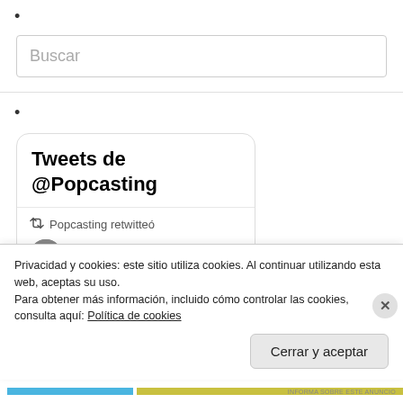•
Buscar
•
[Figure (screenshot): Twitter widget showing 'Tweets de @Popcasting' with a retweet row 'Popcasting retwitteó' and a profile row showing avatar, 'Kapil K...' username with verified badge and Twitter bird icon]
Privacidad y cookies: este sitio utiliza cookies. Al continuar utilizando esta web, aceptas su uso.
Para obtener más información, incluido cómo controlar las cookies, consulta aquí: Política de cookies
Cerrar y aceptar